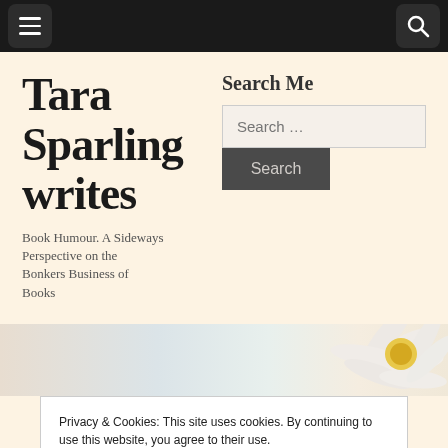Navigation bar with hamburger menu and search icon
Tara Sparling writes
Book Humour. A Sideways Perspective on the Bonkers Business of Books
Search Me
Search ...
[Figure (photo): Daisy flower strip background image]
Privacy & Cookies: This site uses cookies. By continuing to use this website, you agree to their use.
To find out more, including how to control cookies, see here: Cookie Policy
Close and accept
TAG: INDIE PUBLISHING